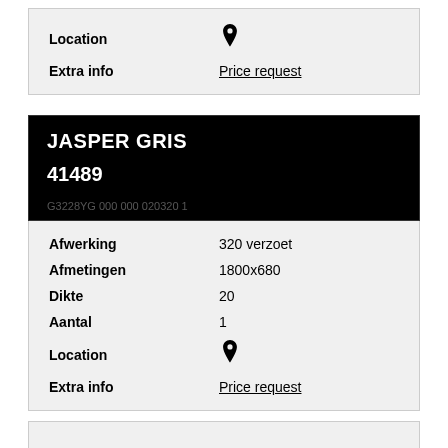| Field | Value |
| --- | --- |
| Location |  |
| Extra info | Price request |
JASPER GRIS
41489
G3228YG 000 000 020320 1
| Field | Value |
| --- | --- |
| Afwerking | 320 verzoet |
| Afmetingen | 1800x680 |
| Dikte | 20 |
| Aantal | 1 |
| Location |  |
| Extra info | Price request |